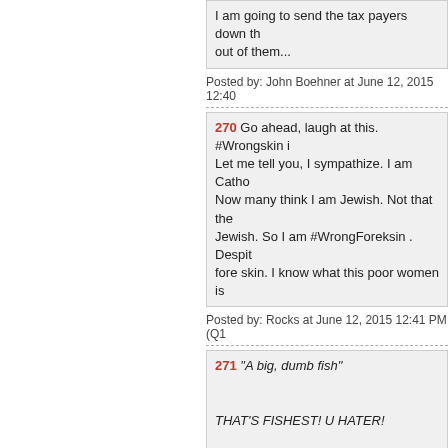I am going to send the tax payers down th... out of them...
Posted by: John Boehner at June 12, 2015 12:40
270 Go ahead, laugh at this. #Wrongskin i... Let me tell you, I sympathize. I am Catho... Now many think I am Jewish. Not that the... Jewish. So I am #WrongForeksin . Despit... fore skin. I know what this poor women is
Posted by: Rocks at June 12, 2015 12:41 PM (Q1
271 "A big, dumb fish"

THAT'S FISHEST! U HATER!

Posted by: anon a mouse at June 12, 2015... Piscine-Americans have an upstream fight
Posted by: Jay Guevara at June 12, 2015 12:41 P
272 255 So what is George Hamilton?